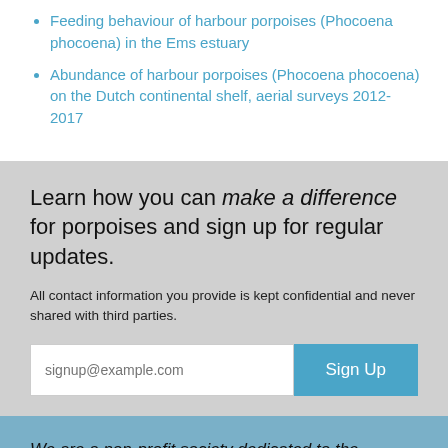Feeding behaviour of harbour porpoises (Phocoena phocoena) in the Ems estuary
Abundance of harbour porpoises (Phocoena phocoena) on the Dutch continental shelf, aerial surveys 2012-2017
Learn how you can make a difference for porpoises and sign up for regular updates.
All contact information you provide is kept confidential and never shared with third parties.
We are a non-profit society dedicated to the protection and conservation of all species of porpoise and their